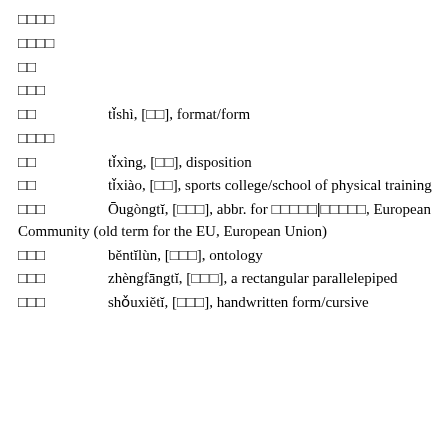□□□□
□□□□
□□
□□□
□□		tǐshì, [□□], format/form
□□□□
□□		tǐxìng, [□□], disposition
□□		tǐxiào, [□□], sports college/school of physical training
□□□		Ōugòngǐ, [□□□], abbr. for □□□□□|□□□□□, European Community (old term for the EU, European Union)
□□□		běntǐlùn, [□□□], ontology
□□□		zhèngfāngtǐ, [□□□], a rectangular parallelepiped
□□□		shǒuxiětǐ, [□□□], handwritten form/cursive